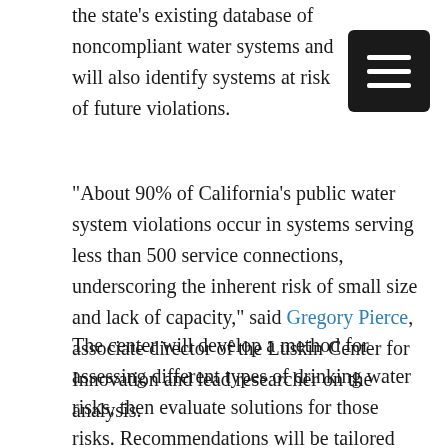the state's existing database of noncompliant water systems and will also identify systems at risk of future violations.
“About 90% of California’s public water system violations occur in systems serving less than 500 service connections, underscoring the inherent risk of small size and lack of capacity,” said Gregory Pierce, associate director of the Luskin Center for Innovation and lead researcher on the analysis.
The center will develop a method for assessing different types of drinking water risks, then evaluate solutions for those risks. Recommendations will be tailored for each water system and private well in violation or at risk of violation. Interventions could include: